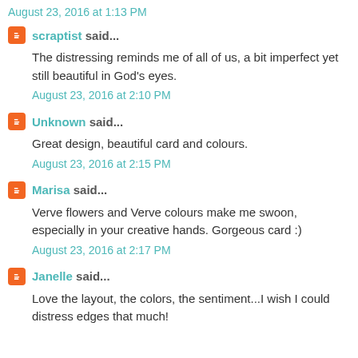August 23, 2016 at 1:13 PM
scraptist said...
The distressing reminds me of all of us, a bit imperfect yet still beautiful in God's eyes.
August 23, 2016 at 2:10 PM
Unknown said...
Great design, beautiful card and colours.
August 23, 2016 at 2:15 PM
Marisa said...
Verve flowers and Verve colours make me swoon, especially in your creative hands. Gorgeous card :)
August 23, 2016 at 2:17 PM
Janelle said...
Love the layout, the colors, the sentiment...I wish I could distress edges that much!